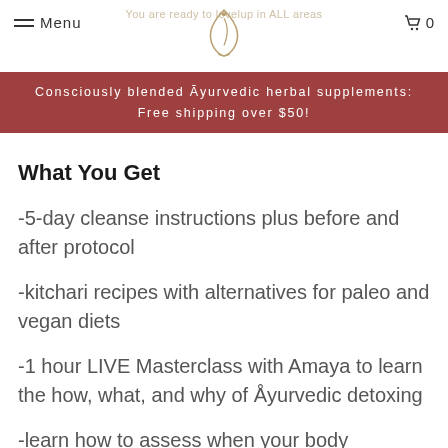Menu | [logo] | 0
You are ready to levelup in ALL areas of your life, and you want to level up...
Consciously blended Āyurvedic herbal supplements: Free shipping over $50!
What You Get
-5-day cleanse instructions plus before and after protocol
-kitchari recipes with alternatives for paleo and vegan diets
-1 hour LIVE Masterclass with Amaya to learn the how, what, and why of Åyurvedic detoxing
-learn how to assess when your body